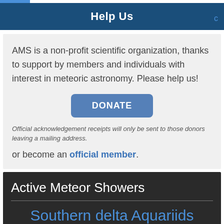Help Us
AMS is a non-profit scientific organization, thanks to support by members and individuals with interest in meteoric astronomy. Please help us!
DONATE
Official acknowledgement receipts will only be sent to those donors leaving a mailing address.
or become an official member.
Active Meteor Showers
Southern delta Aquariids